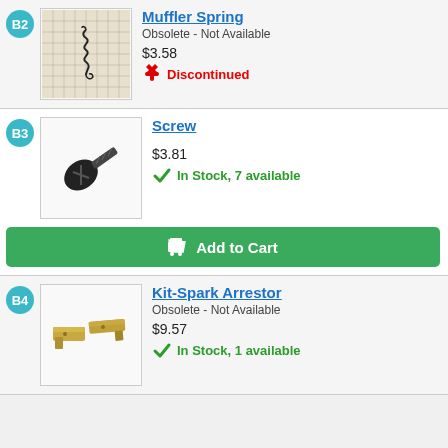B2
[Figure (photo): Photo of a muffler spring part against a grid background]
Muffler Spring
Obsolete - Not Available
$3.58
Discontinued
B3
[Figure (photo): Photo of a small black screw]
Screw
$3.81
In Stock, 7 available
Add to Cart
B4
[Figure (photo): Photo of a Kit-Spark Arrestor, two small metal bracket pieces]
Kit-Spark Arrestor
Obsolete - Not Available
$9.57
In Stock, 1 available